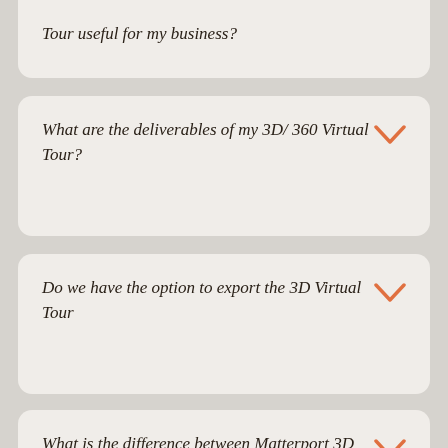Tour useful for my business?
What are the deliverables of my 3D/ 360 Virtual Tour?
Do we have the option to export the 3D Virtual Tour
What is the difference between Matterport 3D Scanning and 360 Virtual Tours?